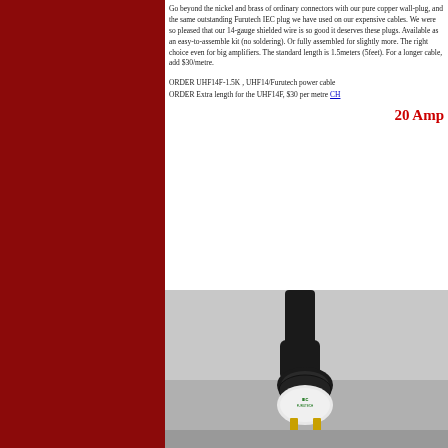Go beyond the nickel and brass of ordinary connectors with our pure copper wall-plug, and the same outstanding Furutech IEC plug we have used on our expensive cables. We were so pleased that our 14-gauge shielded wire is so good it deserves these plugs. Available as an easy-to-assemble kit (no soldering). Or fully assembled for slightly more. The right choice even for big amplifiers. The standard length is 1.5meters (5feet). For a longer cable, add $30/metre.
ORDER UHF14F-1.5K , UHF14/Furutech power cable
ORDER Extra length for the UHF14F, $30 per metre CH...
20 Amp
[Figure (photo): Close-up photograph of a power cable connector with a white IEC plug end showing gold-plated pins, connected to a black cable and housing.]